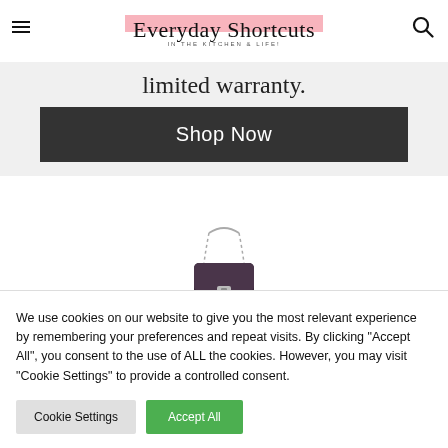Everyday Shortcuts — IN THE KITCHEN & LIFE!
limited warranty.
Shop Now
[Figure (photo): A small dark purple/black handbag with silver chain straps, photographed on a white background.]
We use cookies on our website to give you the most relevant experience by remembering your preferences and repeat visits. By clicking "Accept All", you consent to the use of ALL the cookies. However, you may visit "Cookie Settings" to provide a controlled consent.
Cookie Settings
Accept All